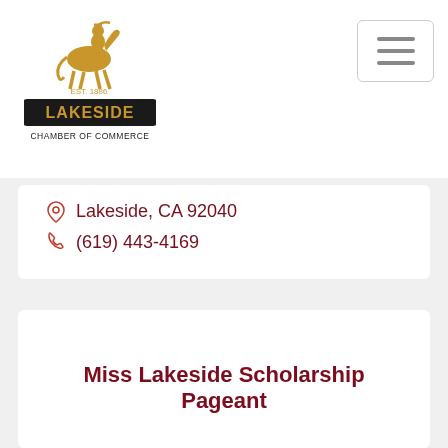[Figure (logo): Lakeside Chamber of Commerce logo with cowboy on horse, EST. 1886]
Lakeside, CA 92040
(619) 443-4169
Miss Lakeside Scholarship Pageant
11434 Valle Vista, Lakeside, CA 92040